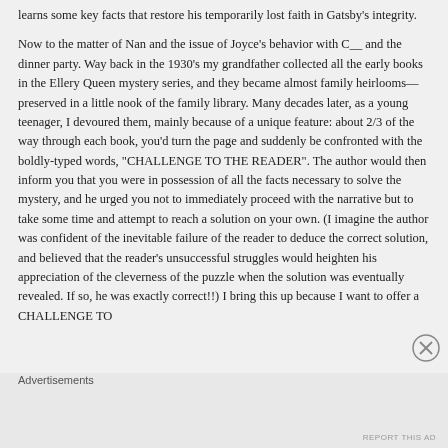learns some key facts that restore his temporarily lost faith in Gatsby's integrity.
Now to the matter of Nan and the issue of Joyce's behavior with C__ and the dinner party. Way back in the 1930's my grandfather collected all the early books in the Ellery Queen mystery series, and they became almost family heirlooms—preserved in a little nook of the family library. Many decades later, as a young teenager, I devoured them, mainly because of a unique feature: about 2/3 of the way through each book, you'd turn the page and suddenly be confronted with the boldly-typed words, "CHALLENGE TO THE READER". The author would then inform you that you were in possession of all the facts necessary to solve the mystery, and he urged you not to immediately proceed with the narrative but to take some time and attempt to reach a solution on your own. (I imagine the author was confident of the inevitable failure of the reader to deduce the correct solution, and believed that the reader's unsuccessful struggles would heighten his appreciation of the cleverness of the puzzle when the solution was eventually revealed. If so, he was exactly correct!!) I bring this up because I want to offer a CHALLENGE TO
Advertisements